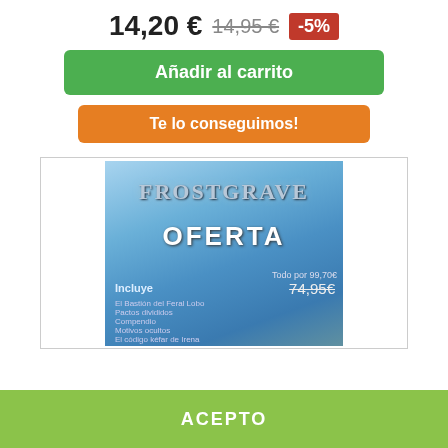14,20 € 14,95 € -5%
Añadir al carrito
Te lo conseguimos!
[Figure (photo): Frostgrave product offer image showing the game title 'Frostgrave' with text 'OFERTA', price '74,95€', 'Todo por 99,70€', and 'Incluye' section with a wizard figure]
Nuestra tienda usa cookies para mejorar la experiencia de usuario y le recomendamos aceptar su uso para aprovechar plenamente la navegación.
Más información   Gestionar cookies
ACEPTO